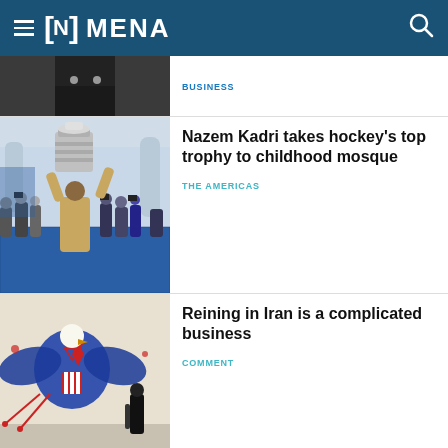[N] MENA
[Figure (photo): Partial cropped photo of a person in a tuxedo/bow tie, dark background]
BUSINESS
[Figure (photo): A person holding the Stanley Cup trophy above their head inside a mosque with blue carpeting, surrounded by photographers]
Nazem Kadri takes hockey's top trophy to childhood mosque
THE AMERICAS
[Figure (photo): A mural on a wall depicting a large eagle with a Star of David, American-style heraldic design with red and blue; a person in black stands near the wall]
Reining in Iran is a complicated business
COMMENT